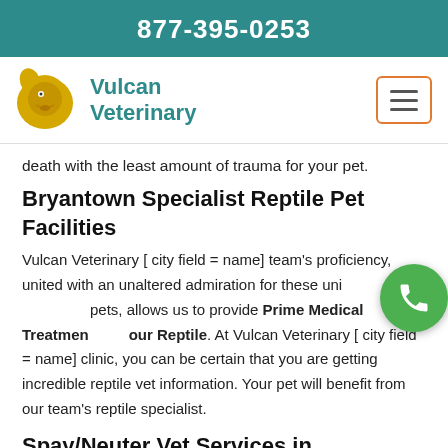877-395-0253
[Figure (logo): Vulcan Veterinary logo with golden dog head icon and teal text]
death with the least amount of trauma for your pet.
Bryantown Specialist Reptile Pet Facilities
Vulcan Veterinary [ city field = name] team's proficiency, united with an unaltered admiration for these unique pets, allows us to provide Prime Medical Treatment for your Reptile. At Vulcan Veterinary [ city field = name] clinic, you can be certain that you are getting incredible reptile vet information. Your pet will benefit from our team's reptile specialist.
Spay/Neuter Vet Services in Bryantown
In order to offer surgical sterilization at an extremely low